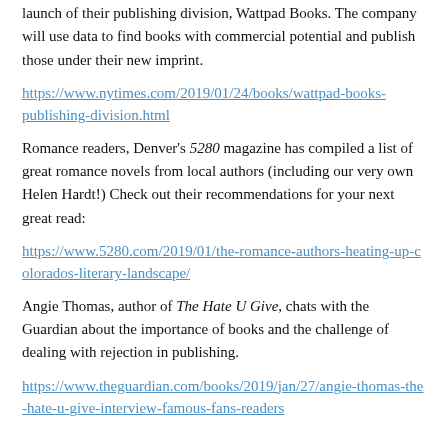launch of their publishing division, Wattpad Books. The company will use data to find books with commercial potential and publish those under their new imprint.
https://www.nytimes.com/2019/01/24/books/wattpad-books-publishing-division.html
Romance readers, Denver's 5280 magazine has compiled a list of great romance novels from local authors (including our very own Helen Hardt!) Check out their recommendations for your next great read:
https://www.5280.com/2019/01/the-romance-authors-heating-up-colorados-literary-landscape/
Angie Thomas, author of The Hate U Give, chats with the Guardian about the importance of books and the challenge of dealing with rejection in publishing.
https://www.theguardian.com/books/2019/jan/27/angie-thomas-the-hate-u-give-interview-famous-fans-readers